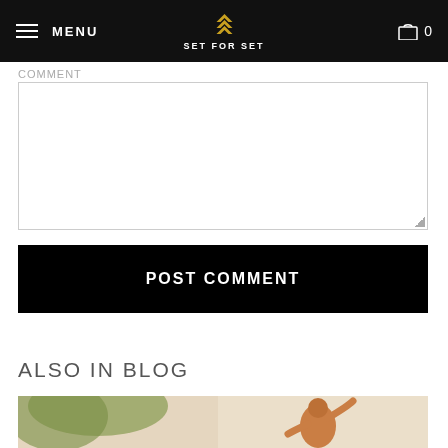MENU | SET FOR SET | 0
COMMENT
[comment textarea input field]
POST COMMENT
ALSO IN BLOG
[Figure (photo): A muscular shirtless bearded man outdoors with trees in background, raising one hand, in warm sunlight]